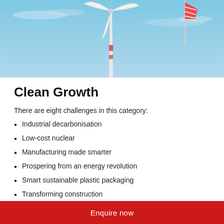[Figure (photo): Wind turbine against a blue sky with a windsock visible]
Clean Growth
There are eight challenges in this category:
Industrial decarbonisation
Low-cost nuclear
Manufacturing made smarter
Prospering from an energy revolution
Smart sustainable plastic packaging
Transforming construction
Transforming food production
Enquire now